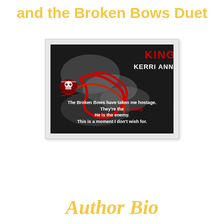and the Broken Bows Duet
[Figure (illustration): Book cover for 'King' by Kerri Ann from the Broken Bows Duet. Dark background with a person's wrists bound with red rope. Text reads: KING, KERRI ANN, The Broken Bows have taken me hostage. They're the ENEMY. He is the enemy. This is a moment I don't wish for. Includes a skull-and-crossbows logo for Broken Bows.]
Author Bio